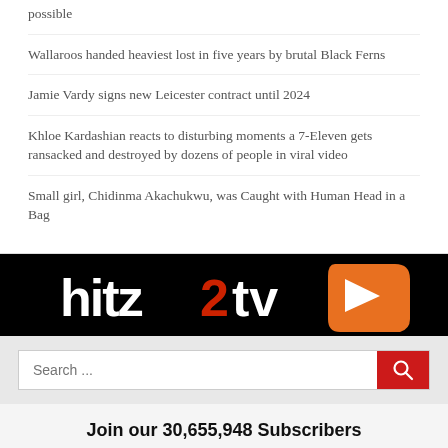possible
Wallaroos handed heaviest lost in five years by brutal Black Ferns
Jamie Vardy signs new Leicester contract until 2024
Khloe Kardashian reacts to disturbing moments a 7-Eleven gets ransacked and destroyed by dozens of people in viral video
Small girl, Chidinma Akachukwu, was Caught with Human Head in a Bag
[Figure (logo): hitz2tv logo in white and orange on black background]
Search ...
Join our 30,655,948 Subscribers
Enter your email address to subscribe to hitztv.com.ng and Get latest Music & Entertainment Gist updates